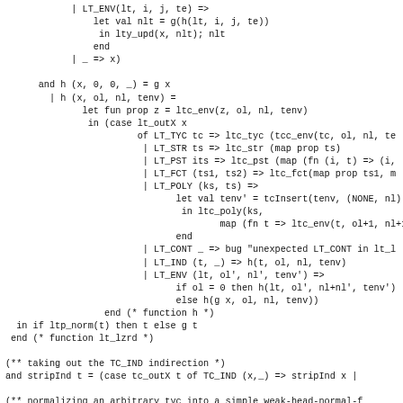| LT_ENV(lt, i, j, te) =>
    let val nlt = g(h(lt, i, j, te))
     in lty_upd(x, nlt); nlt
    end
| _ => x)

and h (x, 0, 0, _) = g x
  | h (x, ol, nl, tenv) =
      let fun prop z = ltc_env(z, ol, nl, tenv)
       in (case lt_outX x
                of LT_TYC tc => ltc_tyc (tcc_env(tc, ol, nl, te
                 | LT_STR ts => ltc_str (map prop ts)
                 | LT_PST its => ltc_pst (map (fn (i, t) => (i,
                 | LT_FCT (ts1, ts2) => ltc_fct(map prop ts1, m
                 | LT_POLY (ks, ts) =>
                     let val tenv' = tcInsert(tenv, (NONE, nl))
                      in ltc_poly(ks,
                             map (fn t => ltc_env(t, ol+1, nl+1,
                     end
                 | LT_CONT _ => bug "unexpected LT_CONT in lt_l
                 | LT_IND (t, _) => h(t, ol, nl, tenv)
                 | LT_ENV (lt, ol', nl', tenv') =>
                     if ol = 0 then h(lt, ol', nl+nl', tenv')
                     else h(g x, ol, nl, tenv))
              end (* function h *)
  in if ltp_norm(t) then t else g t
 end (* function lt_lzrd *)

(** taking out the TC_IND indirection *)
and stripInd t = (case tc_outX t of TC_IND (x,_) => stripInd x |

(** normalizing an arbitrary tyc into a simple weak-head-normal-f
and tc_whnm t = if tcp_norm(t) then t else
   let val nt = tc_lzrd t
    in case (tc_outX nt)
         of TC_APP(tc, tcs) =>
            (let val tc' = tc_whnm tc
              in cccc (tc outY tc))